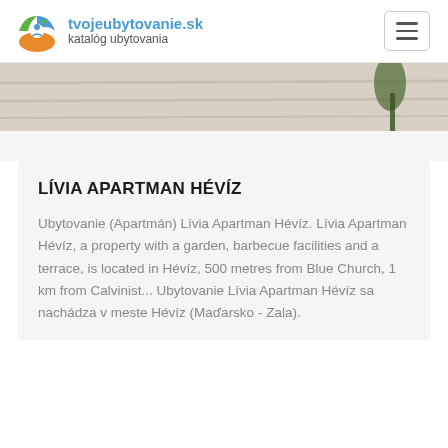tvojeubytovanie.sk katalóg ubytovania
[Figure (photo): Partial photo showing a light wood floor and a plant, cropped at the top of the content area]
LÍVIA APARTMAN HÉVÍZ
Ubytovanie (Apartmán) Lívia Apartman Hévíz. Lívia Apartman Hévíz, a property with a garden, barbecue facilities and a terrace, is located in Hévíz, 500 metres from Blue Church, 1 km from Calvinist... Ubytovanie Lívia Apartman Hévíz sa nachádza v meste Hévíz (Maďarsko - Zala).